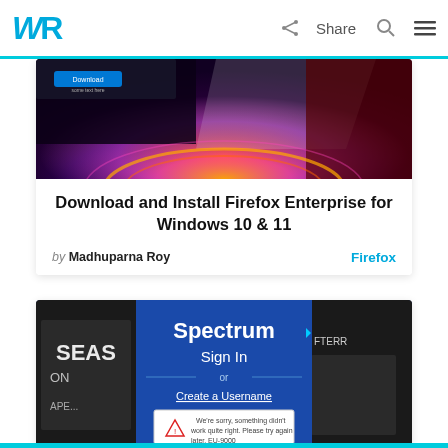WR | Share
[Figure (screenshot): Firefox browser promotional image with dark purple/red gradient background and glowing ring]
Download and Install Firefox Enterprise for Windows 10 & 11
by Madhuparna Roy    Firefox
[Figure (screenshot): Spectrum Sign In page screenshot showing login form with error message EU-9000]